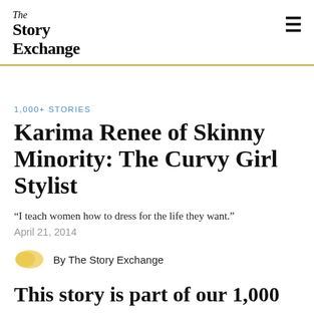The Story Exchange
1,000+ STORIES
Karima Renee of Skinny Minority: The Curvy Girl Stylist
“I teach women how to dress for the life they want.”
April 21, 2014
By The Story Exchange
This story is part of our 1,000